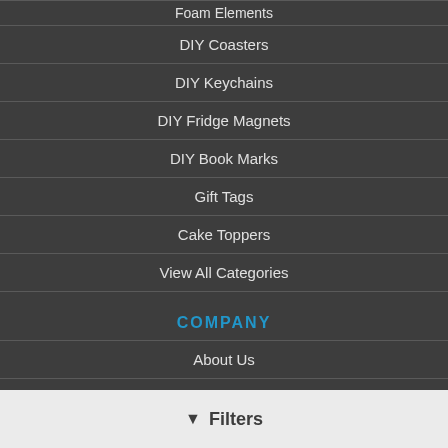Foam Elements
DIY Coasters
DIY Keychains
DIY Fridge Magnets
DIY Book Marks
Gift Tags
Cake Toppers
View All Categories
COMPANY
About Us
Terms & Conditions
Privacy Policy
Shipping Policy
Refund & Return Policy
Filters